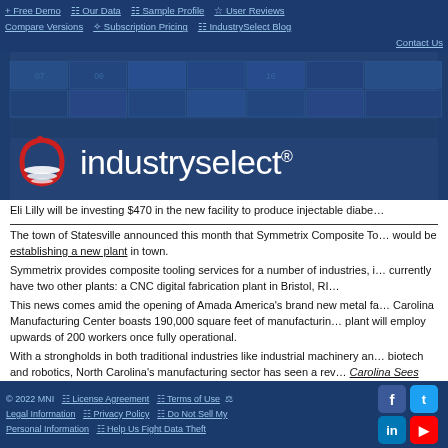+ Free Demo  Our Data  Sample Profile  User Reviews  Compare Versions  Subscription Pricing  IndustrySelect Blog  Contact Us
[Figure (logo): IndustrySelect logo with red and white circular icon on dark blue background with shipping containers]
Eli Lilly will be investing $470 in the new facility to produce injectable diabe...
The town of Statesville announced this month that Symmetrix Composite To... would be establishing a new plant in town.
Symmetrix provides composite tooling services for a number of industries, i... currently have two other plants: a CNC digital fabrication plant in Bristol, RI...
This news comes amid the opening of Amada America's brand new metal fa... Carolina Manufacturing Center boasts 190,000 square feet of manufacturin... plant will employ upwards of 200 workers once fully operational.
With a strongholds in both traditional industries like industrial machinery an... biotech and robotics, North Carolina's manufacturing sector has seen a rev... Carolina Sees Sustained Manufacturing Job Growth.
In just the past year alone, IndustrySelect added 267 new manufacturers to... MNI's North Carolina database of manufacturers to 8,000+ manufacturers...
© 2022 MNI  License Agreement  Terms of Use  Legal Information  Privacy Policy  Do Not Sell My Personal Information  Help Us Fight Data Theft